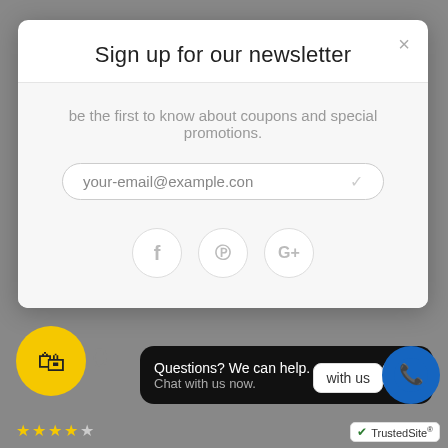Sign up for our newsletter
be the first to know about coupons and special promotions.
[Figure (screenshot): Email input field with placeholder text 'your-email@example.con' and a checkmark icon, inside a rounded border]
[Figure (screenshot): Three social media icon circles: Facebook (f), Pinterest (p), Google+ (G+)]
Questions? We can help. Chat with us now.
with us
TrustedSite